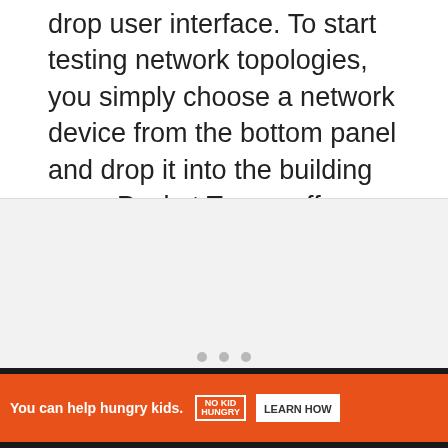drop user interface. To start testing network topologies, you simply choose a network device from the bottom panel and drop it into the building area. Packet Tracer offers several categories of devices, such as routers, switches, computers, servers, and more.
[Figure (other): Gray placeholder image area with three dots indicating an image carousel or slideshow.]
[Figure (other): Advertisement banner: orange background with 'You can help hungry kids.' text, No Kid Hungry logo, and LEARN HOW button. Black background bar with X close buttons.]